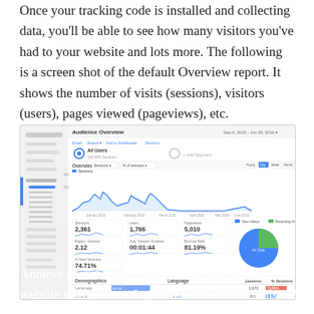Once your tracking code is installed and collecting data, you'll be able to see how many visitors you've had to your website and lots more. The following is a screen shot of the default Overview report. It shows the number of visits (sessions), visitors (users), pages viewed (pageviews), etc.
[Figure (screenshot): Google Analytics Audience Overview dashboard screenshot showing sessions line chart, metrics (Sessions: 2,361, Users: 1,766, Pageviews: 5,010, Pages/Session: 2.12, Avg. Session Duration: 00:01:44, Bounce Rate: 81.19%, % New Sessions: 74.71%), a donut/pie chart showing New Visitor vs Returning Visitor, and a Demographics table showing Language data.]
Another useful report is to find out where your website traffic is coming from. You can find this